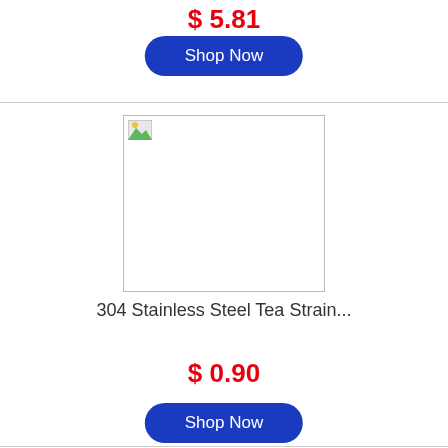$ 5.81
Shop Now
[Figure (photo): Product image placeholder for 304 Stainless Steel Tea Strainer]
304 Stainless Steel Tea Strain...
$ 0.90
Shop Now